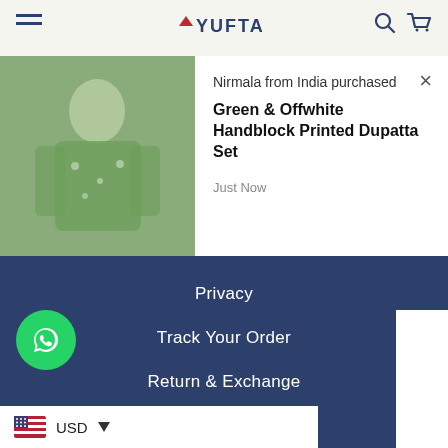YUFTA
Nirmala from India purchased
Green & Offwhite Handblock Printed Dupatta Set
Just Now
Privacy
Track Your Order
Return & Exchange
Shipping Policy
[Figure (logo): PayPal logo button, white rounded rectangle]
© 2022 Yufta Store
USD